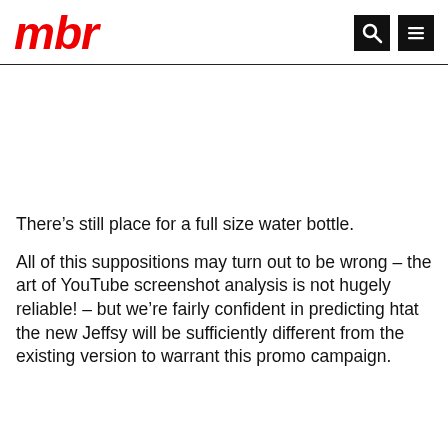mbr
There’s still place for a full size water bottle.
All of this suppositions may turn out to be wrong – the art of YouTube screenshot analysis is not hugely reliable! – but we’re fairly confident in predicting htat the new Jeffsy will be sufficiently different from the existing version to warrant this promo campaign.